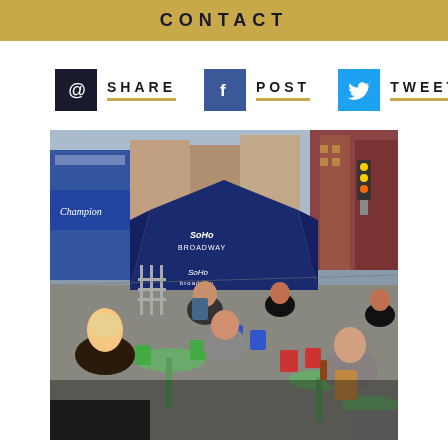CONTACT
SHARE
POST
TWEET
[Figure (photo): Outdoor street scene in SoHo Broadway, New York City. People sitting at colorful cafe tables and chairs on a pedestrian street. A blue tent with 'SoHo Broadway' branding is visible. Buildings include a Champion store. Yellow traffic lights are visible in the background.]